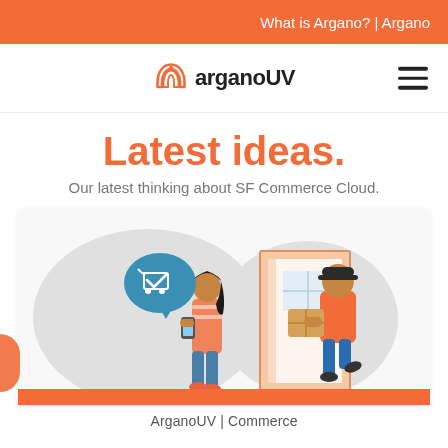What is Argano? | Argano
[Figure (logo): ArganoUV logo with orange arch symbol and bold text arganoUV]
Latest ideas.
Our latest thinking about SF Commerce Cloud.
[Figure (illustration): Illustration of a delivery person in orange uniform handing a package to a woman near a door, with a speech bubble showing a shopping cart checkmark. Orange bar at bottom.]
ArganoUV | Commerce